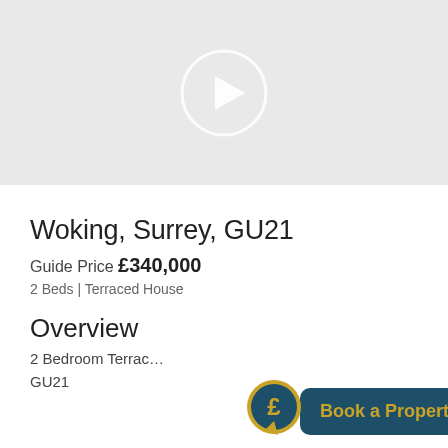[Figure (other): Video placeholder with play button circle on grey background]
Woking, Surrey, GU21
Guide Price £340,000
2 Beds | Terraced House
Overview
2 Bedroom Terrace ... GU21
[Figure (other): Book a Property Valuation CTA button with pound sign speech bubble icon]